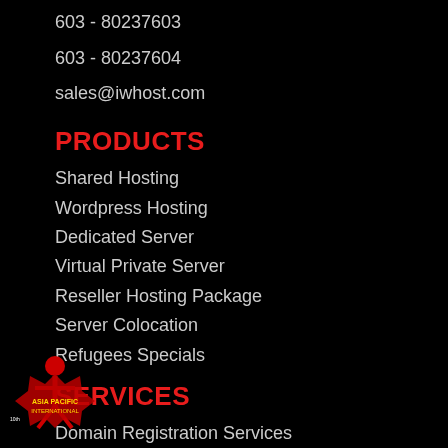603 - 80237603
603 - 80237604
sales@iwhost.com
PRODUCTS
Shared Hosting
Wordpress Hosting
Dedicated Server
Virtual Private Server
Reseller Hosting Package
Server Colocation
Refugees Specials
SERVICES
Domain Registration Services
SSL Certs and Security
Website Builder Services
E-Commerce and Online Payment
[Figure (logo): Company logo watermark in bottom-left corner, red and yellow award/certification badge]